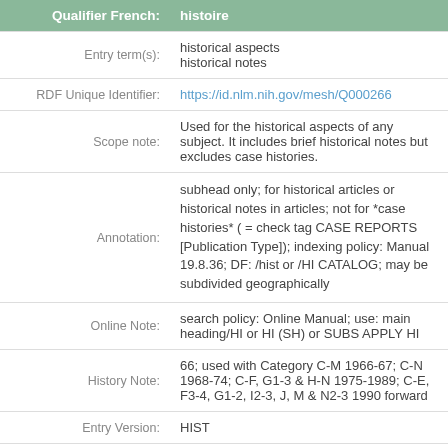| Field | Value |
| --- | --- |
| Qualifier French: | histoire |
| Entry term(s): | historical aspects
historical notes |
| RDF Unique Identifier: | https://id.nlm.nih.gov/mesh/Q000266 |
| Scope note: | Used for the historical aspects of any subject. It includes brief historical notes but excludes case histories. |
| Annotation: | subhead only; for historical articles or historical notes in articles; not for 'case histories' ( = check tag CASE REPORTS [Publication Type]); indexing policy: Manual 19.8.36; DF: /hist or /HI CATALOG; may be subdivided geographically |
| Online Note: | search policy: Online Manual; use: main heading/HI or HI (SH) or SUBS APPLY HI |
| History Note: | 66; used with Category C-M 1966-67; C-N 1968-74; C-F, G1-3 & H-N 1975-1989; C-E, F3-4, G1-2, I2-3, J, M & N2-3 1990 forward |
| Entry Version: | HIST |
| Abbreviation: | HI |